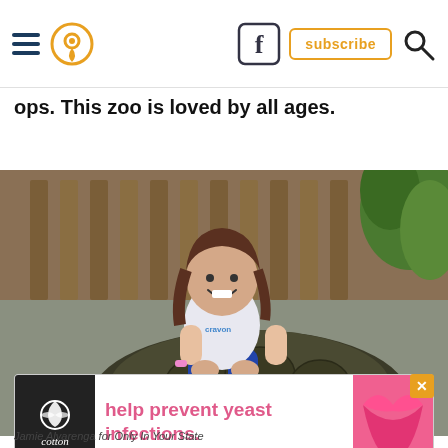Navigation bar with hamburger menu, location pin icon, Facebook icon, subscribe button, and search icon
ops. This zoo is loved by all ages.
[Figure (photo): Young girl with long brown hair sitting on top of a large tortoise at a zoo. She is smiling and wearing a white graphic t-shirt and blue leggings. A wooden fence and greenery are visible in the background.]
[Figure (other): Advertisement banner: Caitton logo on dark background, text reading 'help prevent yeast infections.' in pink, and a pink bikini bottom image on the right.]
Jamie Alvarenga for Only In Your State